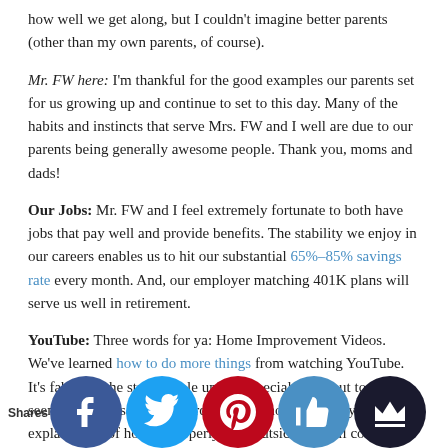how well we get along, but I couldn't imagine better parents (other than my own parents, of course).
Mr. FW here: I'm thankful for the good examples our parents set for us growing up and continue to set to this day. Many of the habits and instincts that serve Mrs. FW and I well are due to our parents being generally awesome people. Thank you, moms and dads!
Our Jobs: Mr. FW and I feel extremely fortunate to both have jobs that pay well and provide benefits. The stability we enjoy in our careers enables us to hit our substantial 65%–85% savings rate every month. And, our employer matching 401K plans will serve us well in retirement.
YouTube: Three words for ya: Home Improvement Videos. We've learned how to do more things from watching YouTube. It's fabulous the stuff people upload–special shout out to the seemingly thousands of bearded guys who filmed very intense explanations of how to properly mud outside drywall corners. Ya'll are the best. Thanks, Mr.
Shares